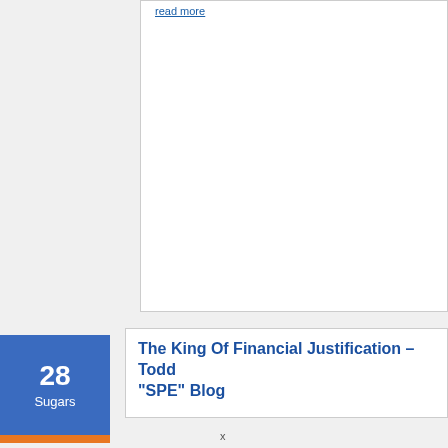read more
The King Of Financial Justification – Todd "SPE" Blog
28 Sugars